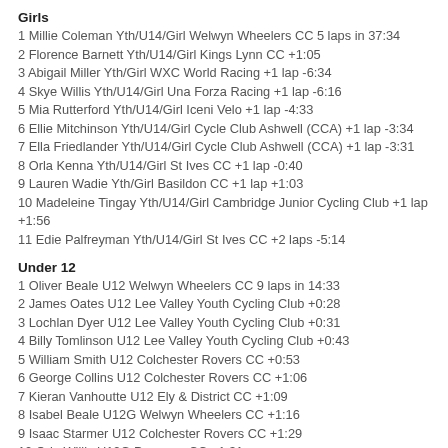Girls
1 Millie Coleman Yth/U14/Girl Welwyn Wheelers CC 5 laps in 37:34
2 Florence Barnett Yth/U14/Girl Kings Lynn CC +1:05
3 Abigail Miller Yth/Girl WXC World Racing +1 lap -6:34
4 Skye Willis Yth/U14/Girl Una Forza Racing +1 lap -6:16
5 Mia Rutterford Yth/U14/Girl Iceni Velo +1 lap -4:33
6 Ellie Mitchinson Yth/U14/Girl Cycle Club Ashwell (CCA) +1 lap -3:34
7 Ella Friedlander Yth/U14/Girl Cycle Club Ashwell (CCA) +1 lap -3:31
8 Orla Kenna Yth/U14/Girl St Ives CC +1 lap -0:40
9 Lauren Wadie Yth/Girl Basildon CC +1 lap +1:03
10 Madeleine Tingay Yth/U14/Girl Cambridge Junior Cycling Club +1 lap +1:56
11 Edie Palfreyman Yth/U14/Girl St Ives CC +2 laps -5:14
Under 12
1 Oliver Beale U12 Welwyn Wheelers CC 9 laps in 14:33
2 James Oates U12 Lee Valley Youth Cycling Club +0:28
3 Lochlan Dyer U12 Lee Valley Youth Cycling Club +0:31
4 Billy Tomlinson U12 Lee Valley Youth Cycling Club +0:43
5 William Smith U12 Colchester Rovers CC +0:53
6 George Collins U12 Colchester Rovers CC +1:06
7 Kieran Vanhoutte U12 Ely & District CC +1:09
8 Isabel Beale U12G Welwyn Wheelers CC +1:16
9 Isaac Starmer U12 Colchester Rovers CC +1:29
10 Orla Willis U12G Panagua CC +1:31
11 Louis Oppen U12 Cycle Club Ashwell (CCA) +1:33